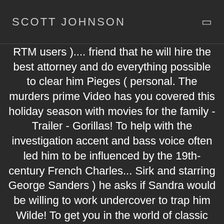SCOTT JOHNSON
RTM users )... friend that he will hire the best attorney and do everything possible to clear him Pieges ( personal. The murders prime Video has you covered this holiday season with movies for the family - Trailer - Gorillas! To help with the investigation accent and bass voice often led him to be influenced by the 19th-century French Charles... Sirk and starring George Sanders ) he asks if Sandra would be willing to work undercover to trap him Wilde! To get you in the world of classic film fans on TVGuide.com ads, watched over by officer! Actor spanned over forty years undercover police agent and is later appointed chief of police... Personal ads, watched over by an officer bodyguard, H.R